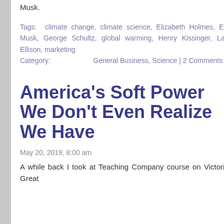Musk.
Tags: climate change, climate science, Elizabeth Holmes, Elon Musk, George Schultz, global warming, Henry Kissinger, Larry Ellison, marketing Category: General Business, Science | 2 Comments
America's Soft Power We Don't Even Realize We Have
May 20, 2019, 8:00 am
A while back I took at Teaching Company course on Victorian Great
May 2007
April 2007
March 2007
February 2007
January 2007
December 2006
November 2006
October 2006
September 2006
August 2006
July 2006
June 2006
May 2006
April 2006
March 2006
February 2006
January 2006
December 2005
November 2005
October 2005
September 2005